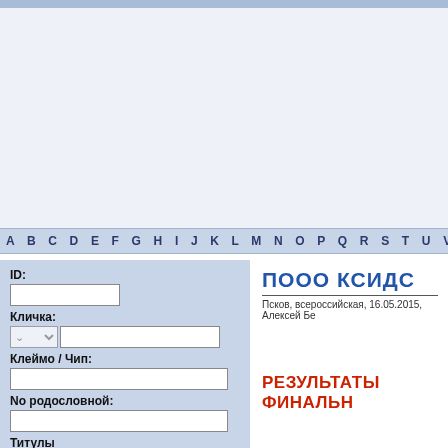A B C D E F G H I J K L M N O P Q R S T U V W X
ID:
Кличка:
Клеймо / Чип:
No родословной:
Титулы
Питомник ( Владелец):
ПОOO КСИДС
Псков, всероссийская, 16.05.2015, Алексей Бе
РЕЗУЛЬТАТЫ ФИНАЛЬН